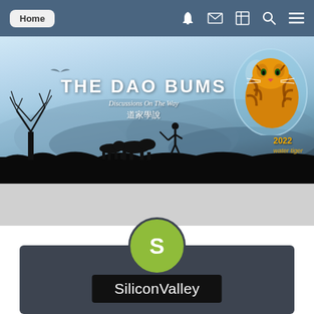Home [navigation bar with bell, mail, news, search, menu icons]
[Figure (screenshot): The Dao Bums website banner. Sky background in light blue-grey tones with misty mountains. Text reads 'THE DAO BUMS / Discussions On The Way / 道家學說'. Right side shows a tiger in a water sphere. Bottom shows silhouettes of bare tree, person, and animals on grass. Text '2022 water tiger' in gold/orange at bottom right.]
[Figure (screenshot): User profile card with dark grey background. Green circular avatar with letter 'S'. Username 'SiliconValley' displayed in white text on black background label.]